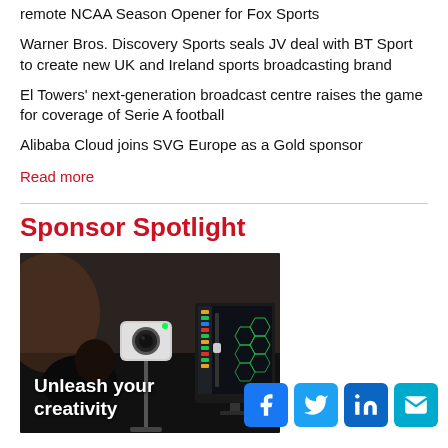remote NCAA Season Opener for Fox Sports
Warner Bros. Discovery Sports seals JV deal with BT Sport to create new UK and Ireland sports broadcasting brand
El Towers' next-generation broadcast centre raises the game for coverage of Serie A football
Alibaba Cloud joins SVG Europe as a Gold sponsor
Read more
Sponsor Spotlight
[Figure (photo): Dark studio scene showing a compact camera on a stand and a computer monitor with audio/visual software, overlaid with white bold text 'Unleash your creativity']
[Figure (infographic): Social media icon buttons: Facebook (blue), Twitter (blue), LinkedIn (blue), Email (cyan)]